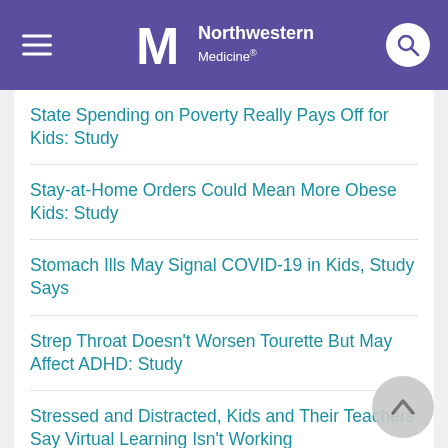Northwestern Medicine
State Spending on Poverty Really Pays Off for Kids: Study
Stay-at-Home Orders Could Mean More Obese Kids: Study
Stomach Ills May Signal COVID-19 in Kids, Study Says
Strep Throat Doesn't Worsen Tourette But May Affect ADHD: Study
Stressed and Distracted, Kids and Their Teachers Say Virtual Learning Isn't Working
Stressed, Exhausted: Frontline Workers Faced Big Mental Strain in Pandemic
Strict Rest Not Recommended After Sports-Linked Concussion, Experts Say